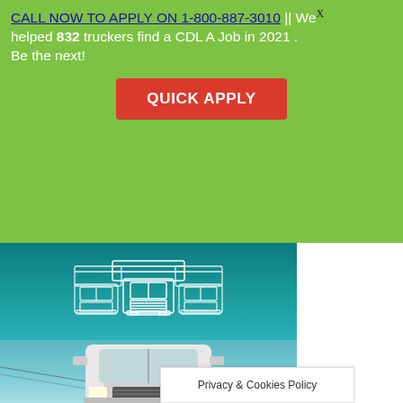CALL NOW TO APPLY ON 1-800-887-3010 || We helped 832 truckers find a CDL A Job in 2021 . Be the next!
QUICK APPLY
[Figure (logo): Trucker Job USA logo with three white semi-truck illustrations above the text 'TRUCKER JOB USA' in bold white letters on a teal background]
[Figure (photo): Photo of a white semi-truck cab photographed from the front, against a light blue sky background]
Privacy & Cookies Policy